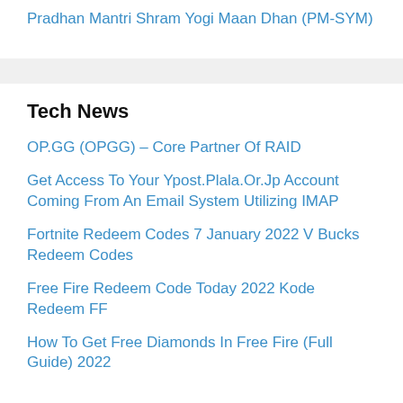Pradhan Mantri Shram Yogi Maan Dhan (PM-SYM)
Tech News
OP.GG (OPGG) – Core Partner Of RAID
Get Access To Your Ypost.Plala.Or.Jp Account Coming From An Email System Utilizing IMAP
Fortnite Redeem Codes 7 January 2022 V Bucks Redeem Codes
Free Fire Redeem Code Today 2022 Kode Redeem FF
How To Get Free Diamonds In Free Fire (Full Guide) 2022